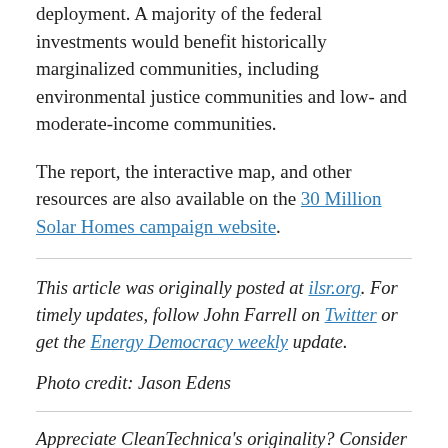deployment. A majority of the federal investments would benefit historically marginalized communities, including environmental justice communities and low- and moderate-income communities.
The report, the interactive map, and other resources are also available on the 30 Million Solar Homes campaign website.
This article was originally posted at ilsr.org. For timely updates, follow John Farrell on Twitter or get the Energy Democracy weekly update.
Photo credit: Jason Edens
Appreciate CleanTechnica's originality? Consider becoming